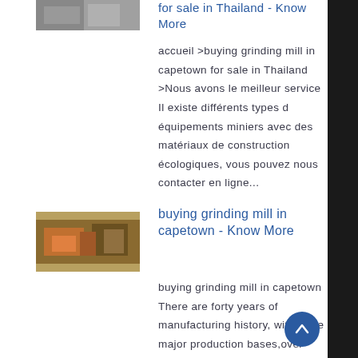[Figure (photo): Partial thumbnail image at top left, cropped machinery photo]
for sale in Thailand - Know More
accueil >buying grinding mill in capetown for sale in Thailand >Nous avons le meilleur service Il existe différents types d équipements miniers avec des matériaux de construction écologiques, vous pouvez nous contacter en ligne...
[Figure (photo): Thumbnail image of grinding mill machinery in capetown]
buying grinding mill in capetown - Know More
buying grinding mill in capetown There are forty years of manufacturing history, with three major production bases,over 160 senior R D engineers and 600 large and medium-sized digital processing